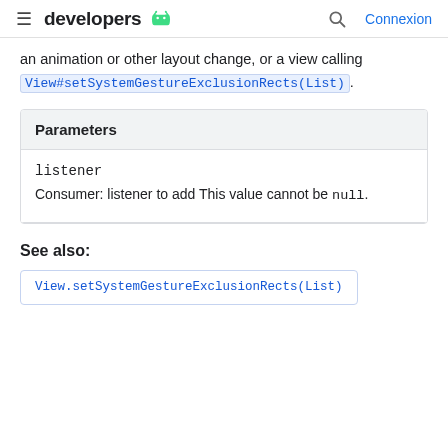developers
an animation or other layout change, or a view calling View#setSystemGestureExclusionRects(List).
| Parameters |
| --- |
| listener | Consumer: listener to add This value cannot be null. |
See also:
View.setSystemGestureExclusionRects(List)